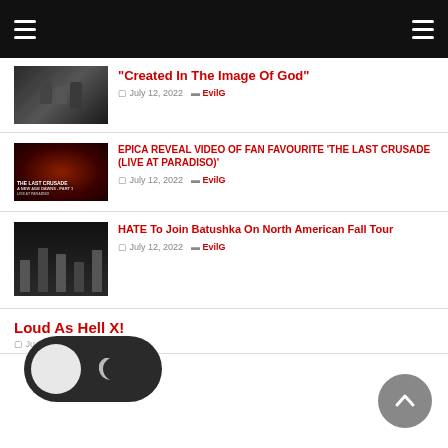Navigation bar with hamburger menus
"Created In The Image Of God"
July 12, 2022  EvilG
EPICA REVEAL VIDEO OF FAN FAVOURITE 'THE LAST CRUSADE (LIVE AT PARADISO)'
July 12, 2022  EvilG
HATE To Join Batushka On North American Fall Tour
July 12, 2022  EvilG
Loud As Hell X!
July 12, 2022  P